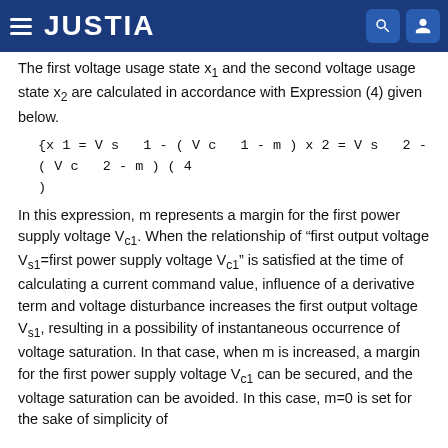JUSTIA
The first voltage usage state x1 and the second voltage usage state x2 are calculated in accordance with Expression (4) given below.
In this expression, m represents a margin for the first power supply voltage Vc1. When the relationship of "first output voltage Vs1=first power supply voltage Vc1" is satisfied at the time of calculating a current command value, influence of a derivative term and voltage disturbance increases the first output voltage Vs1, resulting in a possibility of instantaneous occurrence of voltage saturation. In that case, when m is increased, a margin for the first power supply voltage Vc1 can be secured, and the voltage saturation can be avoided. In this case, m=0 is set for the sake of simplicity of